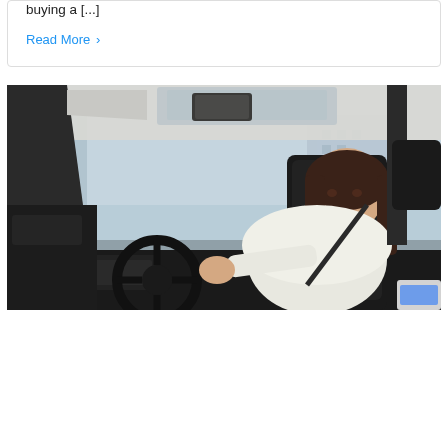buying a [...]
Read More ›
[Figure (photo): Woman with dark hair wearing a white shirt sitting in the driver's seat of a car, gripping the steering wheel. The interior shows a dark dashboard and black leather seats. Through the windshield, city buildings and a blue-grey sky are visible.]